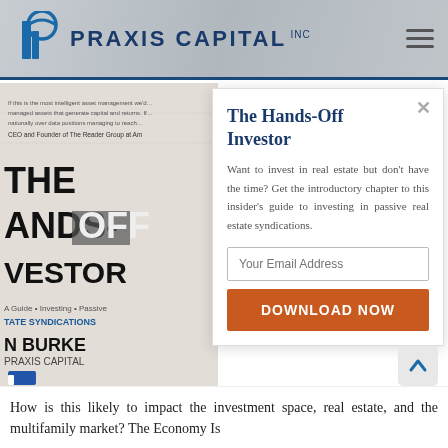[Figure (logo): Praxis Capital Inc logo with stylized blue building/P icon and text in dark navy]
[Figure (photo): Book cover of The Hands-Off Investor by Brian Burke, Praxis Capital]
The Hands-Off Investor
Want to invest in real estate but don't have the time? Get the introductory chapter to this insider's guide to investing in passive real estate syndications.
Your Email Address
DOWNLOAD NOW
How is this likely to impact the investment space, real estate, and the multifamily market? The Economy Is